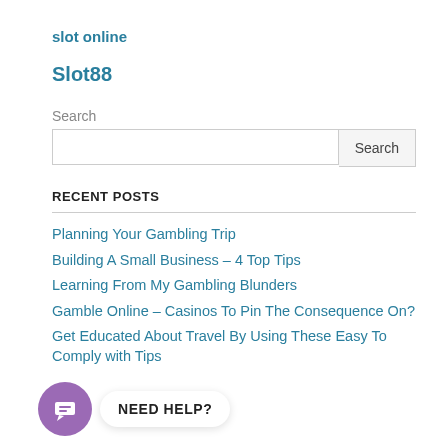slot online
Slot88
Search
RECENT POSTS
Planning Your Gambling Trip
Building A Small Business – 4 Top Tips
Learning From My Gambling Blunders
Gamble Online – Casinos To Pin The Consequence On?
Get Educated About Travel By Using These Easy To Comply with Tips
[Figure (other): Chat widget with purple circular icon and 'NEED HELP?' bubble]